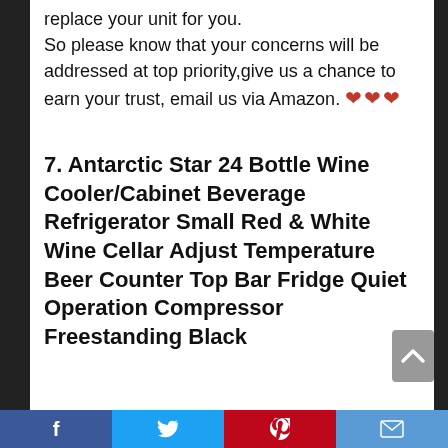replace your unit for you.
So please know that your concerns will be addressed at top priority,give us a chance to earn your trust, email us via Amazon. ❤❤❤
7. Antarctic Star 24 Bottle Wine Cooler/Cabinet Beverage Refrigerator Small Red & White Wine Cellar Adjust Temperature Beer Counter Top Bar Fridge Quiet Operation Compressor Freestanding Black